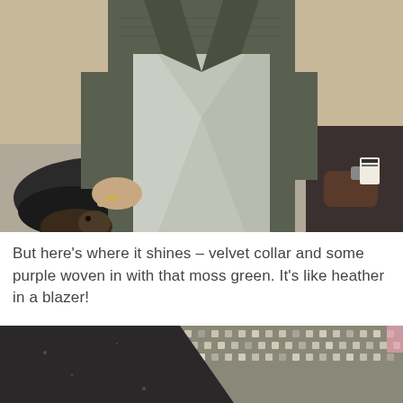[Figure (photo): Photo of a person wearing silver/gray metallic leggings and a moss green textured blazer jacket, standing indoors with clothes and items visible in background.]
But here's where it shines – velvet collar and some purple woven in with that moss green. It's like heather in a blazer!
[Figure (photo): Close-up photo of a dark velvet collar and green/purple woven tweed fabric of a blazer, showing texture detail.]